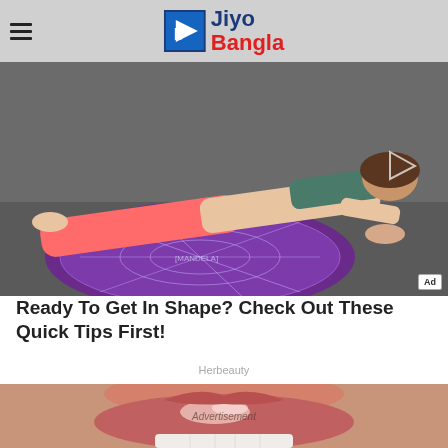Jiyo Bangla
[Figure (photo): Woman in pink workout clothes doing a plank on a colorful round mandala yoga mat on a gym floor. A play arrow icon is visible on the right side. An 'Ad' label is in the bottom right corner.]
Ready To Get In Shape? Check Out These Quick Tips First!
Herbeauty
[Figure (photo): Close-up photo of human lips with glossy lipstick and teeth visible below. 'Advertisement' text overlaid in the center.]